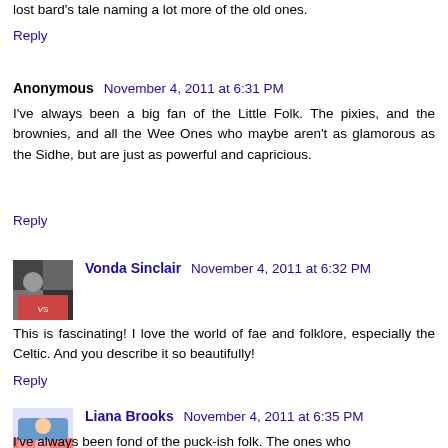lost bard's tale naming a lot more of the old ones.
Reply
Anonymous  November 4, 2011 at 6:31 PM
I've always been a big fan of the Little Folk. The pixies, and the brownies, and all the Wee Ones who maybe aren't as glamorous as the Sidhe, but are just as powerful and capricious.
Reply
Vonda Sinclair  November 4, 2011 at 6:32 PM
This is fascinating! I love the world of fae and folklore, especially the Celtic. And you describe it so beautifully!
Reply
Liana Brooks  November 4, 2011 at 6:35 PM
I've always been fond of the puck-ish folk. The ones who